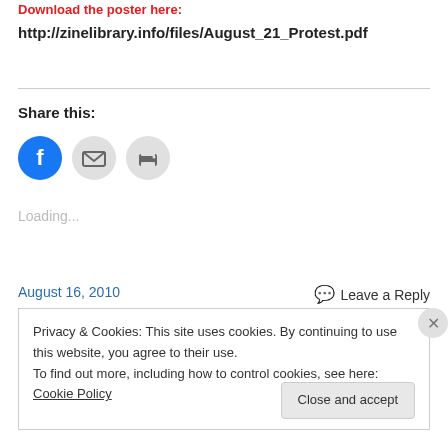Download the poster here:
http://zinelibrary.info/files/August_21_Protest.pdf
Share this:
[Figure (infographic): Three circular share icons: Facebook (blue), Email (grey), Print (grey)]
Loading...
August 16, 2010
Leave a Reply
Privacy & Cookies: This site uses cookies. By continuing to use this website, you agree to their use.
To find out more, including how to control cookies, see here: Cookie Policy
Close and accept